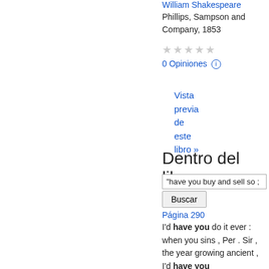William Shakespeare
Phillips, Sampson and Company, 1853
★★★★★ (stars, grey)
0 Opiniones ⓘ
Vista previa de este libro »
Dentro del libro
"have you buy and sell so ;
Buscar
Página 290
I'd have you do it ever : when you sins , Per . Sir , the year growing ancient , I'd have you buy and sell so : so